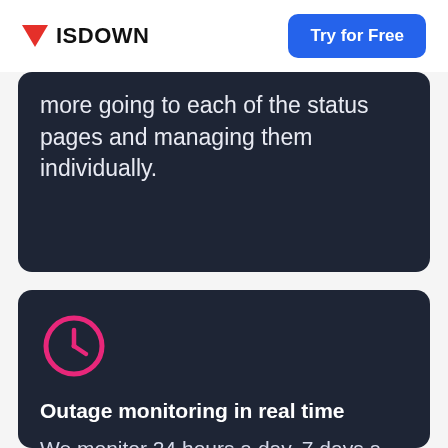ISDOWN | Try for Free
more going to each of the status pages and managing them individually.
[Figure (illustration): Pink clock/time icon circle with clock hands]
Outage monitoring in real time
We monitor 24 hours a day, 7 days a week and will notify you if there is an incident. No more wasting time